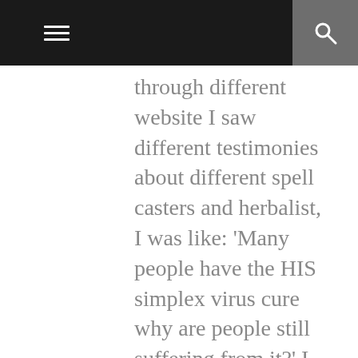through different website I saw different testimonies about different spell casters and herbalist, I was like: 'Many people have the HIS simplex virus cure why are people still suffering from it?' I though of it, then I contact Dr. Oduwa via email, I didn't believe him that much, I just wanted to give him a try, he replied my mail and Needed some